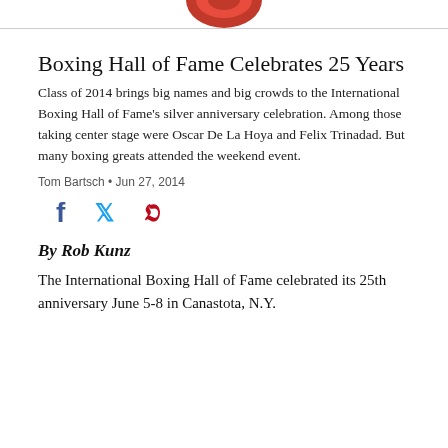[Logo — partial red circular logo visible at top]
Boxing Hall of Fame Celebrates 25 Years
Class of 2014 brings big names and big crowds to the International Boxing Hall of Fame's silver anniversary celebration. Among those taking center stage were Oscar De La Hoya and Felix Trinadad. But many boxing greats attended the weekend event.
Tom Bartsch • Jun 27, 2014
[Figure (infographic): Social share icons: Facebook (f), Twitter (bird), Pinterest (P)]
By Rob Kunz
The International Boxing Hall of Fame celebrated its 25th anniversary June 5-8 in Canastota, N.Y.